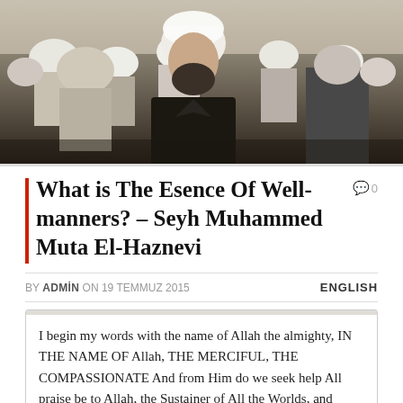[Figure (photo): Group of men in religious attire including white turbans, with a central figure in black wearing a white turban with a black beard, at what appears to be a public gathering or ceremony.]
What is The Esence Of Well-manners? – Seyh Muhammed Muta El-Haznevi
0
BY ADMİN ON 19 TEMMUZ 2015   ENGLISH
I begin my words with the name of Allah the almighty, IN THE NAME OF Allah, THE MERCIFUL, THE COMPASSIONATE And from Him do we seek help All praise be to Allah, the Sustainer of All the Worlds, and blessings and peace be upon our master